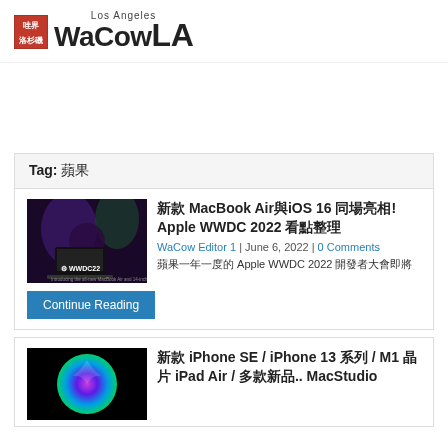WaCow LA
Tag: 蘋果
新款 MacBook Air與iOS 16 同場亮相! Apple WWDC 2022 看點整理
WaCow Editor 1 | June 6, 2022 | 0 Comments
蘋果一年一度的 Apple WWDC 2022 開發者大會
新款 iPhone SE / iPhone 13 系列 / M1 晶片 iPad Air / 多款新品.. MacStudio